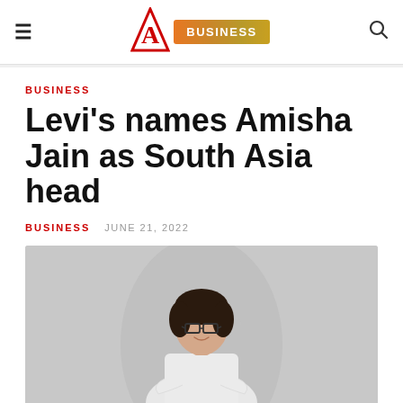≡  A  BUSINESS  🔍
BUSINESS
Levi's names Amisha Jain as South Asia head
BUSINESS   JUNE 21, 2022
[Figure (photo): Professional portrait photo of Amisha Jain, a woman with short dark hair and glasses, wearing a white blazer, arms crossed, smiling, against a light grey background.]